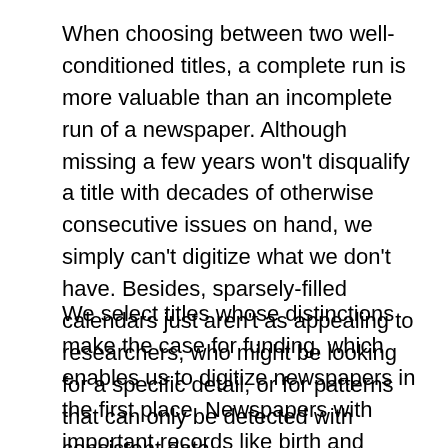When choosing between two well-conditioned titles, a complete run is more valuable than an incomplete run of a newspaper. Although missing a few years won't disqualify a title with decades of otherwise consecutive issues on hand, we simply can't digitize what we don't have. Besides, sparsely-filled calendars just aren't as appealing to researchers, who might be looking for a specific detail, or for patterns that can only be detected with consistent data.
We select titles whose distinctions make the case for funding, which enables us to digitize newspapers in the first place. Newspapers with important records like birth and marriage announcements, obituaries, legal notices, or unique content tend to make a stronger case for